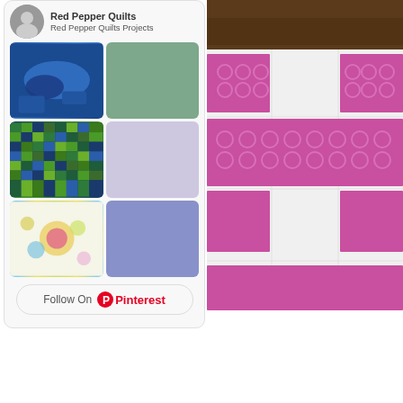Red Pepper Quilts
Red Pepper Quilts Projects
[Figure (photo): Pinterest board widget showing 6 quilt project images in a 2x3 grid with Follow On Pinterest button]
[Figure (photo): Close-up photo of a quilt with magenta/pink circle-pattern fabric squares on white background]
With thanks to Toni  for organising th...
Happy bidding!